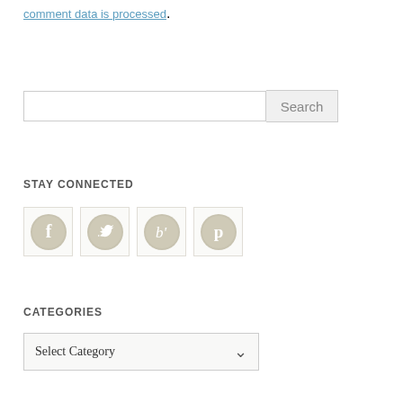comment data is processed.
Search
STAY CONNECTED
[Figure (illustration): Four social media icon buttons in rounded square containers: Facebook (f), Twitter (bird), Bloglovin (b'), Pinterest (p)]
CATEGORIES
Select Category